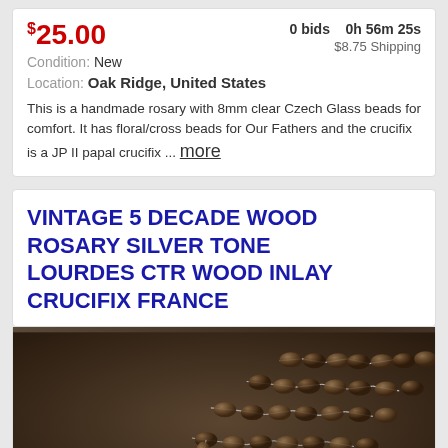$25.00   0 bids   0h 56m 25s   $8.75 Shipping
Condition: New
Location: Oak Ridge, United States
This is a handmade rosary with 8mm clear Czech Glass beads for comfort. It has floral/cross beads for Our Fathers and the crucifix is a JP II papal crucifix ... more
VINTAGE 5 DECADE WOOD ROSARY SILVER TONE LOURDES CTR WOOD INLAY CRUCIFIX FRANCE
[Figure (photo): Photo of a vintage wood rosary with silver tone links, showing multiple strands of oval brown/dark wood beads connected by silver chain links, arranged in a coiled pattern on a dark brown background.]